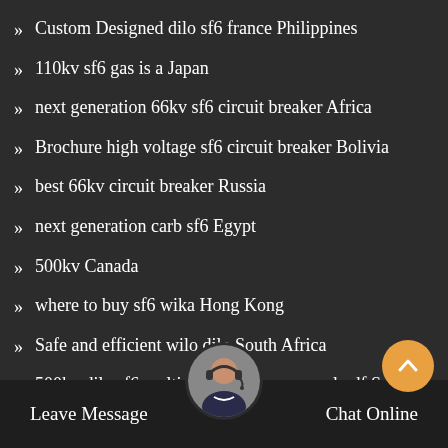Custom Designed dilo sf6 france Philippines
110kv sf6 gas is a Japan
next generation 66kv sf6 circuit breaker Africa
Brochure high voltage sf6 circuit breaker Bolivia
best 66kv circuit breaker Russia
next generation carb sf6 Egypt
500kv Canada
where to buy sf6 wika Hong Kong
Safe and efficient wilo dilo South Africa
500kv dilo sf6 multi analyser user manual pdf South America
cheap dilo sf6 gas analyzer p... stan
advantages of dilo sf6 filter North America
Leave Message   Chat Online